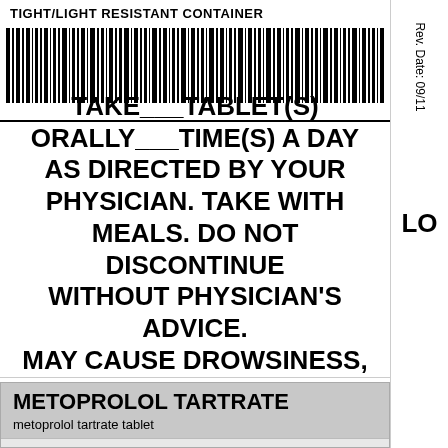TIGHT/LIGHT RESISTANT CONTAINER
[Figure (other): Barcode (1D barcode) spanning full width of the label area]
TAKE___ TABLET(S) ORALLY___ TIME(S) A DAY AS DIRECTED BY YOUR PHYSICIAN. TAKE WITH MEALS. DO NOT DISCONTINUE WITHOUT PHYSICIAN'S ADVICE. MAY CAUSE DROWSINESS, DIZZINESS, OR HEADACHE.
NDC 68258-6033-XX
NDC 68258-6033-03
Rev. Date: 09/11
LO
METOPROLOL TARTRATE
metoprolol tartrate tablet